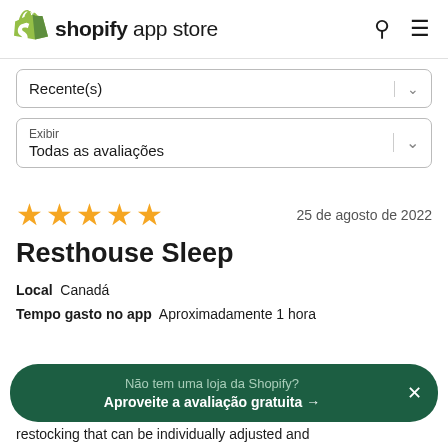shopify app store
Recente(s)
Exibir
Todas as avaliações
★★★★★  25 de agosto de 2022
Resthouse Sleep
Local  Canadá
Tempo gasto no app  Aproximadamente 1 hora
Não tem uma loja da Shopify?
Aproveite a avaliação gratuita →
restocking that can be individually adjusted and